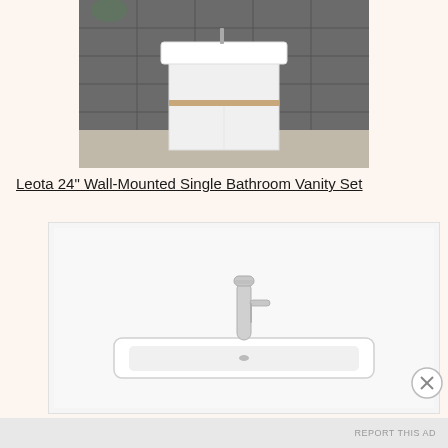[Figure (photo): A white wall-mounted bathroom vanity cabinet with a wooden accent stripe on grey stone tile background]
Leota 24" Wall-Mounted Single Bathroom Vanity Set
[Figure (photo): A white rectangular basin sink with a chrome single-handle faucet, viewed from the front on a light background]
Advertisements
REPORT THIS AD